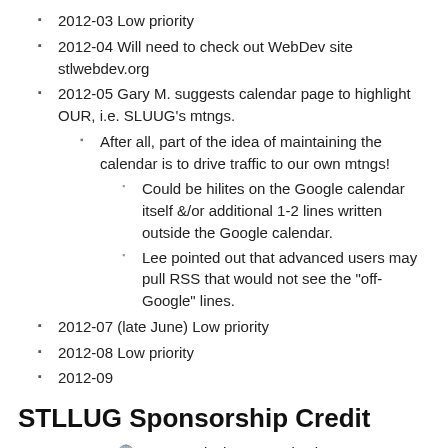2012-03 Low priority
2012-04 Will need to check out WebDev site stlwebdev.org
2012-05 Gary M. suggests calendar page to highlight OUR, i.e. SLUUG's mtngs.
After all, part of the idea of maintaining the calendar is to drive traffic to our own mtngs!
Could be hilites on the Google calendar itself &/or additional 1-2 lines written outside the Google calendar.
Lee pointed out that advanced users may pull RSS that would not see the "off-Google" lines.
2012-07 (late June) Low priority
2012-08 Low priority
2012-09
STLLUG Sponsorship Credit
2010-11 STLLUG is the St. Louis Linux Users